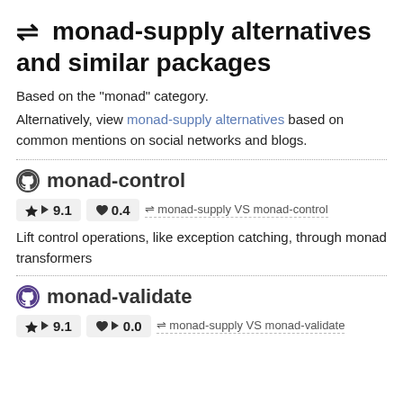⇌ monad-supply alternatives and similar packages
Based on the "monad" category.
Alternatively, view monad-supply alternatives based on common mentions on social networks and blogs.
monad-control
★ ▶ 9.1   ♥ 0.4   ⇌ monad-supply VS monad-control
Lift control operations, like exception catching, through monad transformers
monad-validate
★ ▶ 9.1   ♥ ▶ 0.0   ⇌ monad-supply VS monad-validate